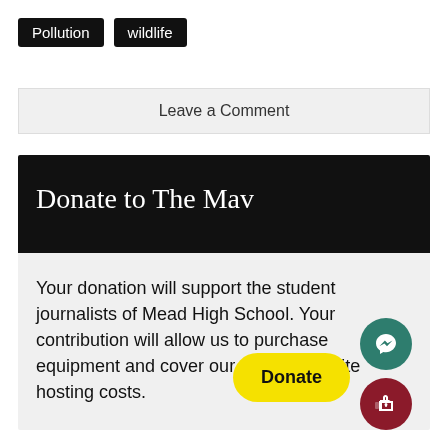Pollution  wildlife
Leave a Comment
Donate to The Mav
Your donation will support the student journalists of Mead High School. Your contribution will allow us to purchase equipment and cover our annual website hosting costs.
Donate